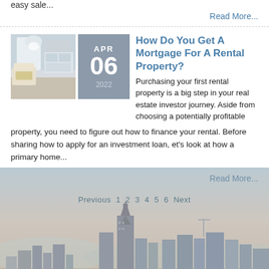easy sale...
Read More...
[Figure (photo): Interior photo of a modern apartment with white furniture and warm lighting]
How Do You Get A Mortgage For A Rental Property?
Purchasing your first rental property is a big step in your real estate investor journey. Aside from choosing a potentially profitable property, you need to figure out how to finance your rental. Before sharing how to apply for an investment loan, et's look at how a primary home...
Read More...
Previous  1  2  3  4  5  6  Next
[Figure (photo): Cityscape skyline photo of Nashville Tennessee with buildings against a hazy sky]